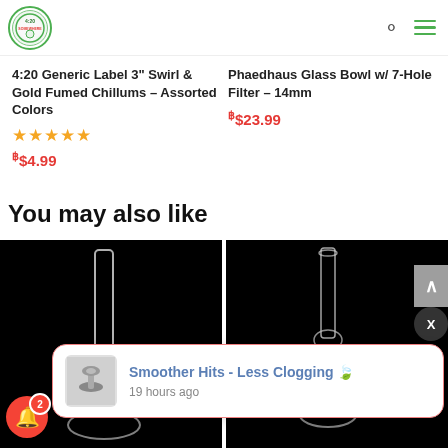[Figure (logo): 4:20 Somewhere circular logo in green]
4:20 Generic Label 3" Swirl & Gold Fumed Chillums – Assorted Colors
[Figure (other): Star rating (5 stars in gold)]
฿$4.99
Phaedhaus Glass Bowl w/ 7-Hole Filter – 14mm
฿$23.99
You may also like
[Figure (photo): Glass bong on black background]
[Figure (photo): Glass bong on black background]
[Figure (screenshot): Notification popup: Smoother Hits - Less Clogging 🍃, 19 hours ago, with glass bowl thumbnail]